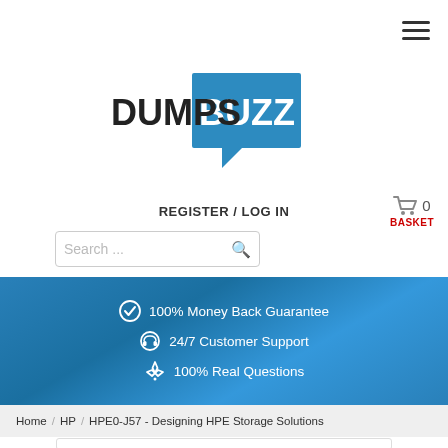[Figure (logo): DumpsBuzz logo - DUMPS in black bold text and BUZZ in white text on a blue speech bubble shape]
REGISTER / LOG IN
0 BASKET
Search ...
100% Money Back Guarantee
24/7 Customer Support
100% Real Questions
Home / HP / HPE0-J57 - Designing HPE Storage Solutions